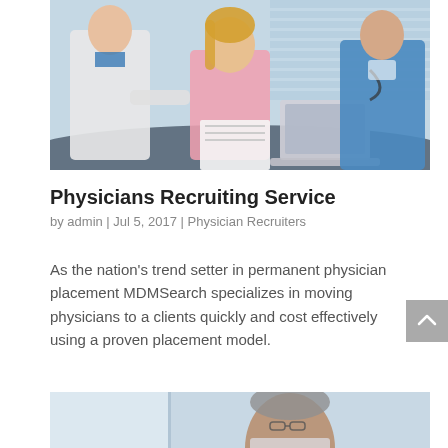[Figure (photo): Three people at a table in a medical/office setting: a female doctor in white coat on the left, a female patient in pink top in the center, and a male medical professional in blue scrubs on the right with a stethoscope. There is a laptop and documents on the table.]
Physicians Recruiting Service
by admin | Jul 5, 2017 | Physician Recruiters
As the nation's trend setter in permanent physician placement MDMSearch specializes in moving physicians to a clients quickly and cost effectively using a proven placement model.
[Figure (photo): Partial photo showing an older man with grey hair and glasses, appearing to be in a medical or professional setting with a light blue background.]